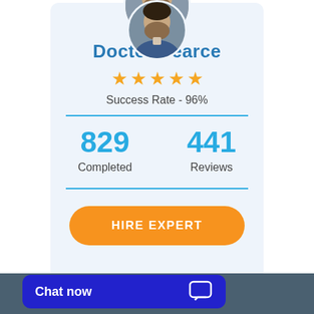[Figure (photo): Circular profile photo of a bearded man in a blue jacket]
Doctor Pearce
[Figure (other): Five gold star rating icons]
Success Rate - 96%
829
Completed
441
Reviews
HIRE EXPERT
Chat now